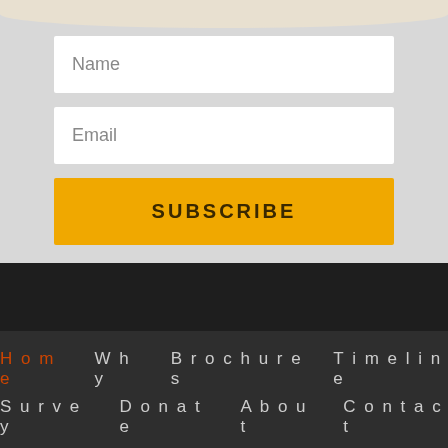[Figure (screenshot): Form card with Name input, Email input, and Subscribe button on gray background with decorative bump at top]
Name
Email
SUBSCRIBE
Home  Why  Brochures  Timeline  Survey  Donate  About  Contact  Permission
Copyright 2019 AHAVBIBLE.COM. All rights reserved.